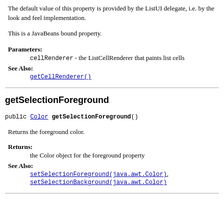The default value of this property is provided by the ListUI delegate, i.e. by the look and feel implementation.
This is a JavaBeans bound property.
Parameters:
cellRenderer - the ListCellRenderer that paints list cells
See Also:
getCellRenderer()
getSelectionForeground
public Color getSelectionForeground()
Returns the foreground color.
Returns:
the Color object for the foreground property
See Also:
setSelectionForeground(java.awt.Color), setSelectionBackground(java.awt.Color)